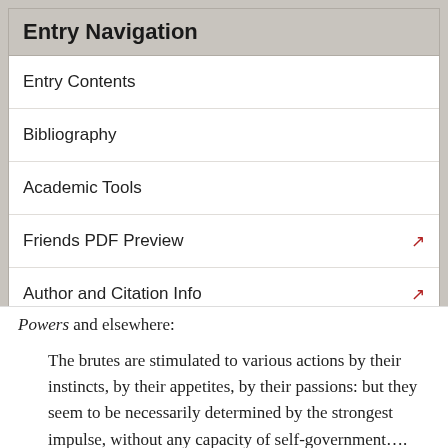Entry Navigation
Entry Contents
Bibliography
Academic Tools
Friends PDF Preview
Author and Citation Info
Powers and elsewhere:
The brutes are stimulated to various actions by their instincts, by their appetites, by their passions: but they seem to be necessarily determined by the strongest impulse, without any capacity of self-government…. They may be trained up by discipline, but cannot be governed by law. There is no evidence that they have the conception of a law, or of its obligation.
Man is capable of acting from motives of a higher